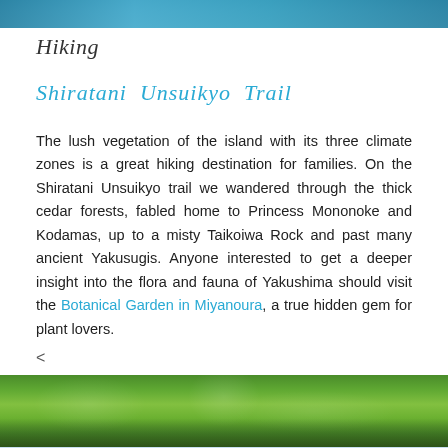[Figure (photo): Partial view of a blue water/ocean scene at the top of the page, cropped]
Hiking
Shiratani Unsuikyo Trail
The lush vegetation of the island with its three climate zones is a great hiking destination for families. On the Shiratani Unsuikyo trail we wandered through the thick cedar forests, fabled home to Princess Mononoke and Kodamas, up to a misty Taikoiwa Rock and past many ancient Yakusugis. Anyone interested to get a deeper insight into the flora and fauna of Yakushima should visit the Botanical Garden in Miyanoura, a true hidden gem for plant lovers.
<
[Figure (photo): Green forest canopy with trees and dappled light, nature scene from Yakushima or similar forest]